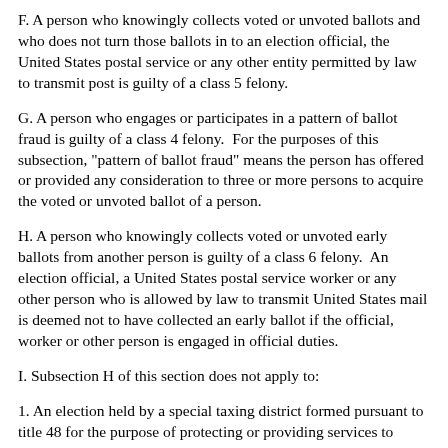F. A person who knowingly collects voted or unvoted ballots and who does not turn those ballots in to an election official, the United States postal service or any other entity permitted by law to transmit post is guilty of a class 5 felony.
G. A person who engages or participates in a pattern of ballot fraud is guilty of a class 4 felony. For the purposes of this subsection, "pattern of ballot fraud" means the person has offered or provided any consideration to three or more persons to acquire the voted or unvoted ballot of a person.
H. A person who knowingly collects voted or unvoted early ballots from another person is guilty of a class 6 felony. An election official, a United States postal service worker or any other person who is allowed by law to transmit United States mail is deemed not to have collected an early ballot if the official, worker or other person is engaged in official duties.
I. Subsection H of this section does not apply to:
1. An election held by a special taxing district formed pursuant to title 48 for the purpose of protecting or providing services to agricultural lands or crops and that is authorized to conduct elections pursuant to title 48.
2. A family member, household member or caregiver of the voter.